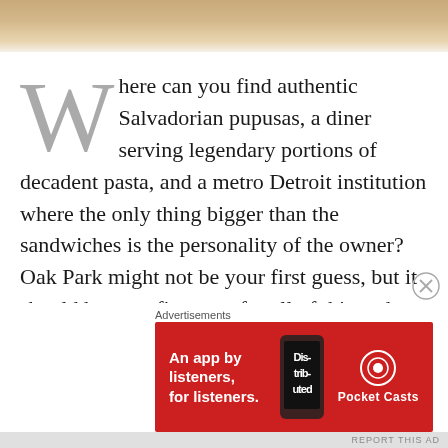[Figure (photo): Top portion of a food photo, showing a plate or dish with warm brown/beige tones, partially visible at the top of the page.]
Where can you find authentic Salvadorian pupusas, a diner serving legendary portions of decadent pasta, and a metro Detroit institution where the only thing bigger than the sandwiches is the personality of the owner? Oak Park might not be your first guess, but it should be your first stop for all of this and more. Now with the addition of its first breweries, there's never been a better time to
[Figure (infographic): Advertisement banner: red background with text 'An app by listeners, for listeners.' alongside a phone image with 'Dis-trib-uted' text and Pocket Casts logo/branding on the right.]
REPORT THIS AD